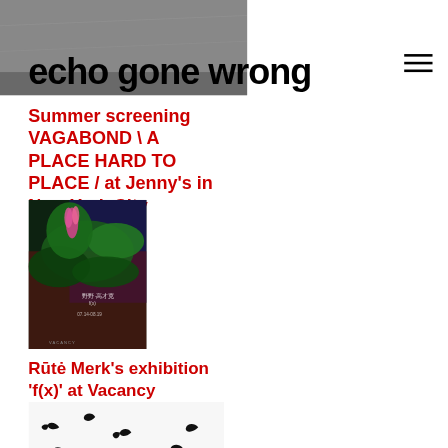echo gone wrong
Summer screening VAGABOND \ A PLACE HARD TO PLACE / at Jenny's in New York City
[Figure (photo): Dark green tropical plant with pink flower against dark colorful background with Chinese text]
Rūtė Merk's exhibition 'f(x)' at Vacancy Gallery in Shanghai
[Figure (photo): Black and white photo of scattered black bird-like shapes against white background]
Exhibition 'How Heat Slides Across Surfaces' by Lithuanian visual artists in Münster, Germany